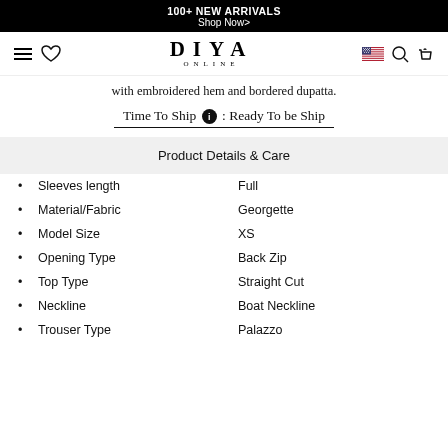100+ NEW ARRIVALS
Shop Now>
[Figure (logo): DIYA ONLINE logo with navigation icons (hamburger menu, heart, US flag, search, bag)]
with embroidered hem and bordered dupatta.
Time To Ship : Ready To be Ship
Product Details & Care
Sleeves length    Full
Material/Fabric    Georgette
Model Size    XS
Opening Type    Back Zip
Top Type    Straight Cut
Neckline    Boat Neckline
Trouser Type    Palazzo